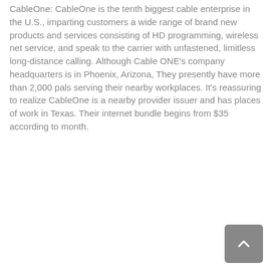CableOne: CableOne is the tenth biggest cable enterprise in the U.S., imparting customers a wide range of brand new products and services consisting of HD programming, wireless net service, and speak to the carrier with unfastened, limitless long-distance calling. Although Cable ONE's company headquarters is in Phoenix, Arizona, They presently have more than 2,000 pals serving their nearby workplaces. It's reassuring to realize CableOne is a nearby provider issuer and has places of work in Texas. Their internet bundle begins from $35 according to month.